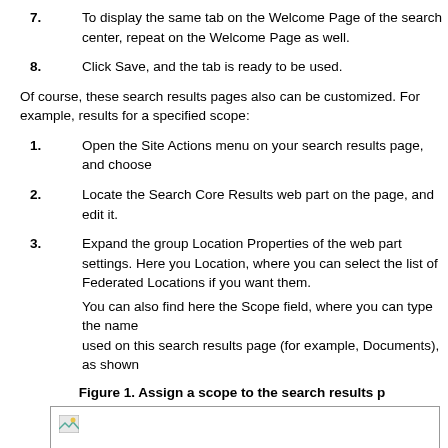7. To display the same tab on the Welcome Page of the search center, repeat on the Welcome Page as well.
8. Click Save, and the tab is ready to be used.
Of course, these search results pages also can be customized. For example, results for a specified scope:
1. Open the Site Actions menu on your search results page, and choose
2. Locate the Search Core Results web part on the page, and edit it.
3. Expand the group Location Properties of the web part settings. Here you Location, where you can select the list of Federated Locations if you w them.
You can also find here the Scope field, where you can type the name used on this search results page (for example, Documents), as shown
Figure 1. Assign a scope to the search results p
[Figure (screenshot): A screenshot placeholder showing a bordered image area with a small image icon in the top-left corner.]